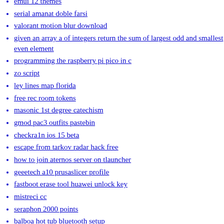emui 12 themes
serial amanat doble farsi
valorant motion blur download
given an array a of integers return the sum of largest odd and smallest even element
programming the raspberry pi pico in c
zo script
ley lines map florida
free rec room tokens
masonic 1st degree catechism
gmod pac3 outfits pastebin
checkra1n ios 15 beta
escape from tarkov radar hack free
how to join aternos server on tlauncher
geeetech a10 prusaslicer profile
fastboot erase tool huawei unlock key
mistreci cc
seraphon 2000 points
balboa hot tub bluetooth setup
moana breeze erika
snowrunner cheat table
sunny leone sex
tito ano yun spg story
fresco play python 3 programming hands on answers
baptist sermon outline on church covenant
fitgirl repack 7 pro hack play review